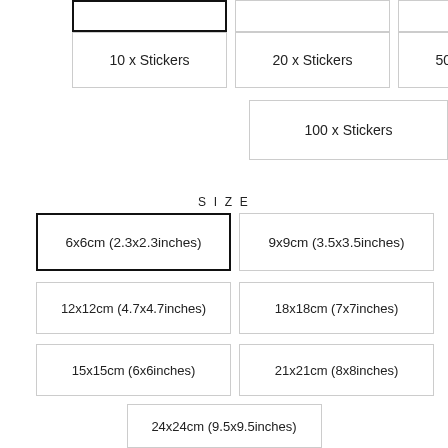10 x Stickers
20 x Stickers
50 x Stickers
100 x Stickers
SIZE
6x6cm (2.3x2.3inches)
9x9cm (3.5x3.5inches)
12x12cm (4.7x4.7inches)
18x18cm (7x7inches)
15x15cm (6x6inches)
21x21cm (8x8inches)
24x24cm (9.5x9.5inches)